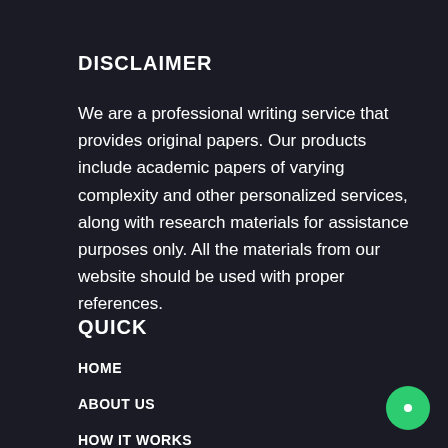DISCLAIMER
We are a professional writing service that provides original papers. Our products include academic papers of varying complexity and other personalized services, along with research materials for assistance purposes only. All the materials from our website should be used with proper references.
QUICK
HOME
ABOUT US
HOW IT WORKS